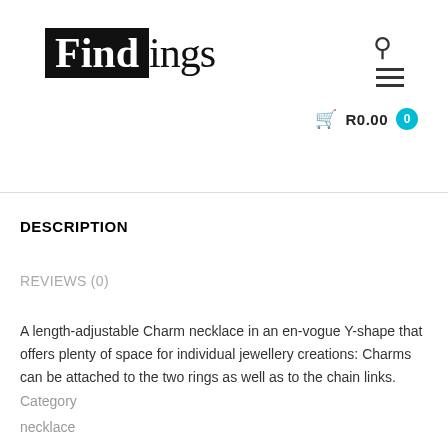[Figure (logo): Findings jewelry store logo — black box with white 'Find' text in serif font, followed by 'ings' in serif font outside the box]
DESCRIPTION
REVIEWS (0)
A length-adjustable Charm necklace in an en-vogue Y-shape that offers plenty of space for individual jewellery creations: Charms can be attached to the two rings as well as to the chain links.
Category
necklace